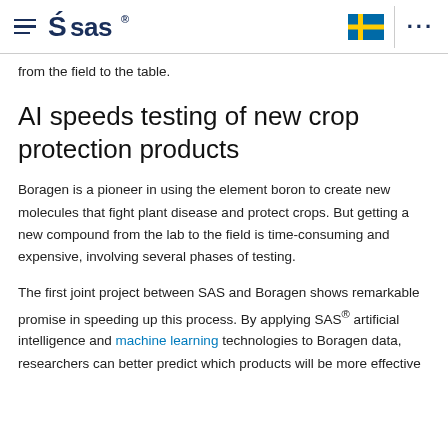SAS logo with hamburger menu, Swedish flag, and navigation dots
from the field to the table.
AI speeds testing of new crop protection products
Boragen is a pioneer in using the element boron to create new molecules that fight plant disease and protect crops. But getting a new compound from the lab to the field is time-consuming and expensive, involving several phases of testing.
The first joint project between SAS and Boragen shows remarkable promise in speeding up this process. By applying SAS® artificial intelligence and machine learning technologies to Boragen data, researchers can better predict which products will be more effective